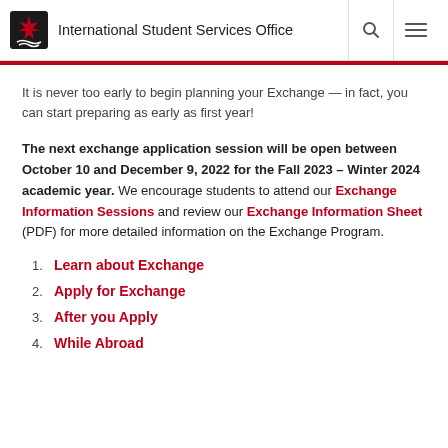International Student Services Office
It is never too early to begin planning your Exchange — in fact, you can start preparing as early as first year!
The next exchange application session will be open between October 10 and December 9, 2022 for the Fall 2023 – Winter 2024 academic year. We encourage students to attend our Exchange Information Sessions and review our Exchange Information Sheet (PDF) for more detailed information on the Exchange Program.
Learn about Exchange
Apply for Exchange
After you Apply
While Abroad